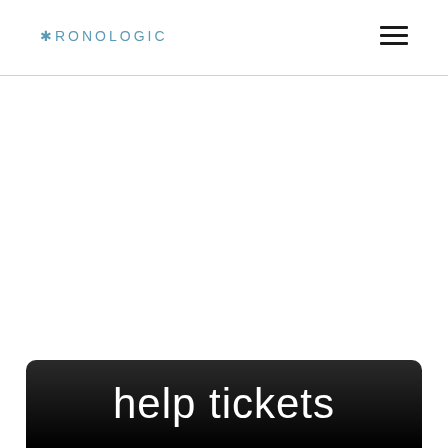KRONOLOGIC
[Figure (screenshot): Dark rounded button with white text reading 'help tickets']